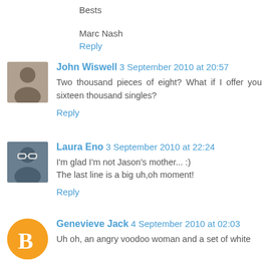Bests
Marc Nash
Reply
John Wiswell  3 September 2010 at 20:57
Two thousand pieces of eight? What if I offer you sixteen thousand singles?
Reply
Laura Eno  3 September 2010 at 22:24
I'm glad I'm not Jason's mother... :)
The last line is a big uh,oh moment!
Reply
Genevieve Jack  4 September 2010 at 02:03
Uh oh, an angry voodoo woman and a set of white